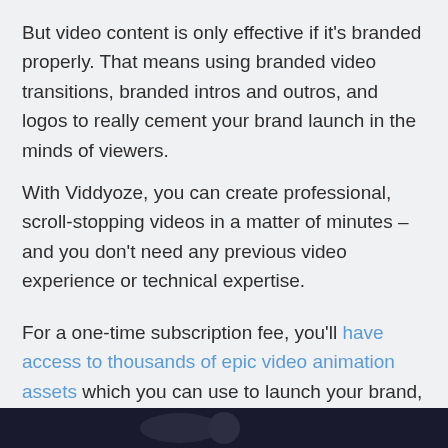But video content is only effective if it's branded properly. That means using branded video transitions, branded intros and outros, and logos to really cement your brand launch in the minds of viewers.
With Viddyoze, you can create professional, scroll-stopping videos in a matter of minutes – and you don't need any previous video experience or technical expertise.
For a one-time subscription fee, you'll have access to thousands of epic video animation assets which you can use to launch your brand, raise brand awareness, and market your products.
[Figure (photo): A dark strip at the bottom of the page showing part of a video or image.]